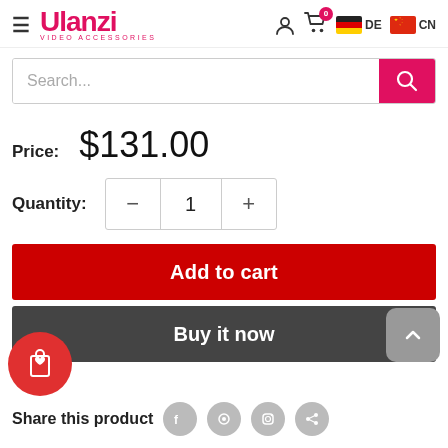[Figure (screenshot): Ulanzi Video Accessories e-commerce page header with logo, user icon, cart with 0 badge, German flag DE, Chinese flag CN]
[Figure (screenshot): Search bar with placeholder text 'Search...' and pink search button]
Price:  $131.00
Quantity: 1 (with minus and plus buttons)
Add to cart
Buy it now
Share this product